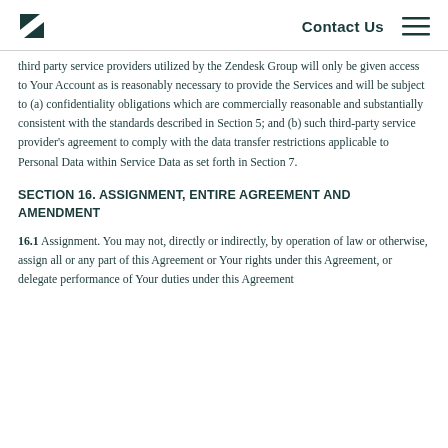Contact Us
third party service providers utilized by the Zendesk Group will only be given access to Your Account as is reasonably necessary to provide the Services and will be subject to (a) confidentiality obligations which are commercially reasonable and substantially consistent with the standards described in Section 5; and (b) such third-party service provider's agreement to comply with the data transfer restrictions applicable to Personal Data within Service Data as set forth in Section 7.
SECTION 16. ASSIGNMENT, ENTIRE AGREEMENT AND AMENDMENT
16.1 Assignment. You may not, directly or indirectly, by operation of law or otherwise, assign all or any part of this Agreement or Your rights under this Agreement, or delegate performance of Your duties under this Agreement